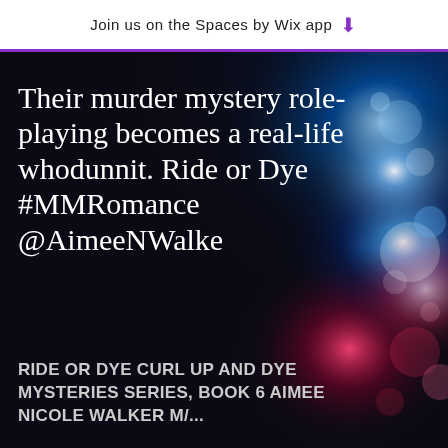Join us on the Spaces by Wix app ↓
[Figure (photo): Dark background book promotion image with bokeh police lights on the right side in blue and red/pink tones]
Their murder mystery role-playing becomes a real-life whodunnit. Ride or Dye #MMRomance @AimeeNWalke
RIDE OR DYE CURL UP AND DYE MYSTERIES SERIES, BOOK 6 AIMEE NICOLE WALKER M/...